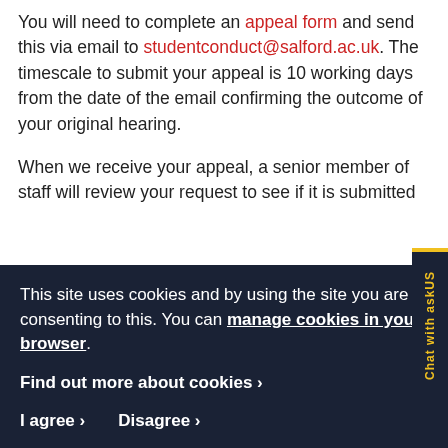You will need to complete an appeal form and send this via email to studentconduct@salford.ac.uk. The timescale to submit your appeal is 10 working days from the date of the email confirming the outcome of your original hearing.
When we receive your appeal, a senior member of staff will review your request to see if it is submitted on time and that it meets the required grounds of the...
This site uses cookies and by using the site you are consenting to this. You can manage cookies in your browser.
Find out more about cookies ›
I agree › Disagree ›